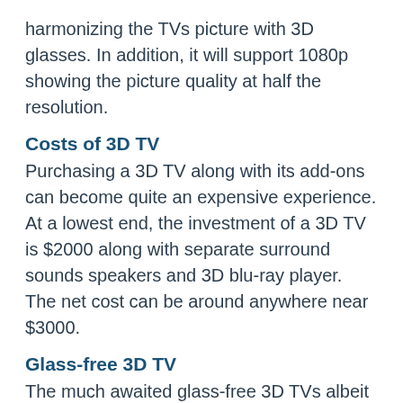harmonizing the TVs picture with 3D glasses. In addition, it will support 1080p showing the picture quality at half the resolution.
Costs of 3D TV
Purchasing a 3D TV along with its add-ons can become quite an expensive experience. At a lowest end, the investment of a 3D TV is $2000 along with separate surround sounds speakers and 3D blu-ray player. The net cost can be around anywhere near $3000.
Glass-free 3D TV
The much awaited glass-free 3D TVs albeit with certain limitations. Certain manufacturers have made some advancement in this regard. Glass-free 3D sends eye different information each time. The TV